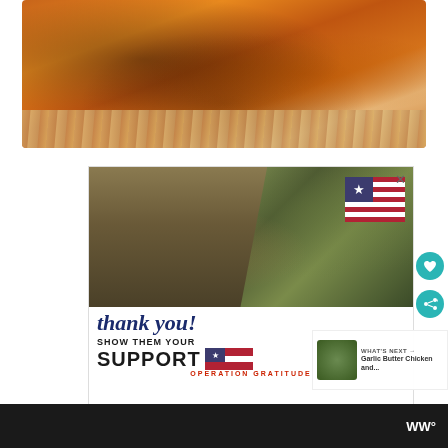[Figure (photo): Close-up photo of seasoned/grilled chicken breast on a wooden cutting board]
[Figure (photo): Advertisement image: Military soldiers in camouflage uniforms wearing masks, with a US flag graphic and handwritten 'thank you!' text. Bottom section reads 'SHOW THEM YOUR SUPPORT' and 'OPERATION GRATITUDE' in bold text.]
WHAT'S NEXT →
Garlic Butter Chicken and...